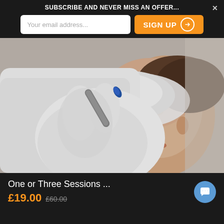SUBSCRIBE AND NEVER MISS AN OFFER...
Your email address...
SIGN UP
[Figure (photo): A beautician in white gloves using a microdermabrasion device on a relaxed woman's forehead. The woman has her eyes closed and is lying down wearing a white headband.]
One or Three Sessions ...
£19.00 £60.00